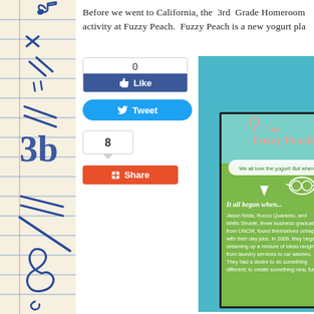[Figure (illustration): Left panel with music notation symbols on lined paper background: treble clef, music notes, quarter notes, flat symbol, and other musical notation drawn in blue ink]
Before we went to California, the 3rd Grade Homeroom activity at Fuzzy Peach. Fuzzy Peach is a new yogurt pla
[Figure (infographic): Facebook Like widget showing count of 0 and a blue Like button]
[Figure (infographic): Twitter Tweet button in blue]
[Figure (infographic): Google+1 Share widget showing count of 8 and an orange Share button]
[Figure (photo): Photo of The Fuzzy Peach sign/poster on a teal background. The sign reads 'The Fuzzy Peach' at the top, followed by text 'We all love the yogurt! But where in the world did the...' with an arrow pointing down, an illustration of a character with glasses, and text 'It all began when... Jason Nista, Rocco Quaranto, and Wells Struble, three business graduates from UNCW, found themselves unhappy with their day jobs. In 2009, they began dreaming up a mixture of ideas ranging from laundry services to car washes. They had a desire to do something different; to create something new, fun']